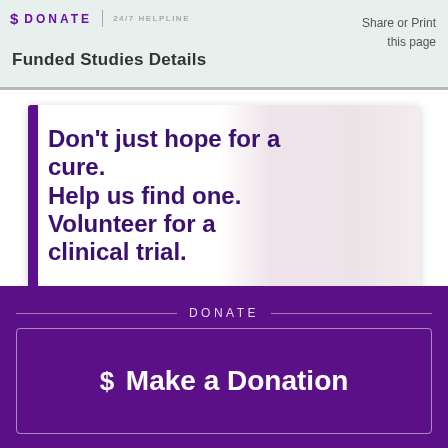DONATE  24/7 HELPLINE  Funded Studies Details  Share or Print this page
[Figure (photo): Clinical trial volunteer advertisement banner with purple left accent bar, large bold purple heading text 'Don't just hope for a cure. Help us find one. Volunteer for a clinical trial.' with a teal Learn More button, and a background image of an elderly man's face.]
Don't just hope for a cure. Help us find one. Volunteer for a clinical trial.
Learn More
DONATE
$ Make a Donation